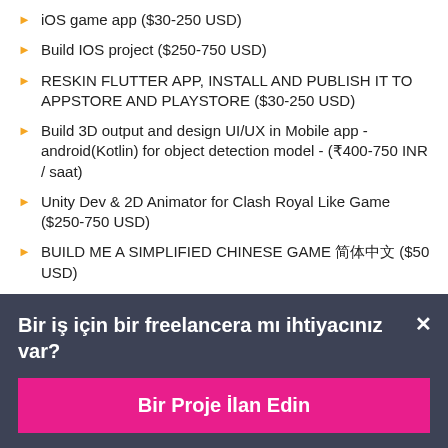iOS game app ($30-250 USD)
Build IOS project ($250-750 USD)
RESKIN FLUTTER APP, INSTALL AND PUBLISH IT TO APPSTORE AND PLAYSTORE ($30-250 USD)
Build 3D output and design UI/UX in Mobile app - android(Kotlin) for object detection model - (₹400-750 INR / saat)
Unity Dev & 2D Animator for Clash Royal Like Game ($250-750 USD)
BUILD ME A SIMPLIFIED CHINESE GAME 简体中文 ($50 USD)
Bir iş için bir freelancera mı ihtiyacınız var?
Bir Proje İlan Edin